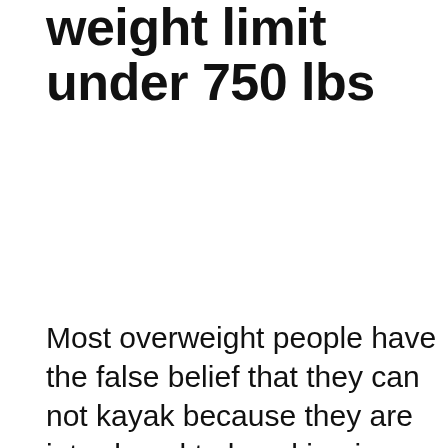weight limit under 750 lbs
Most overweight people have the false belief that they can not kayak because they are introduced to kayaking in a kayak that can not hold their weight